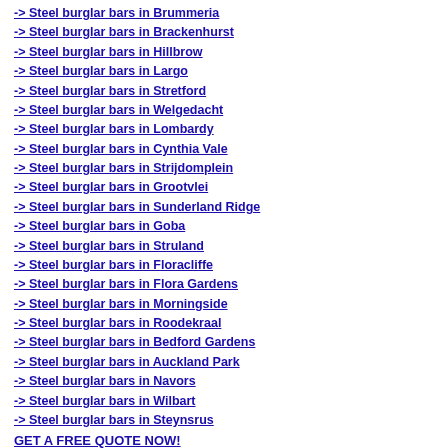-> Steel burglar bars in Brummeria
-> Steel burglar bars in Brackenhurst
-> Steel burglar bars in Hillbrow
-> Steel burglar bars in Largo
-> Steel burglar bars in Stretford
-> Steel burglar bars in Welgedacht
-> Steel burglar bars in Lombardy
-> Steel burglar bars in Cynthia Vale
-> Steel burglar bars in Strijdomplein
-> Steel burglar bars in Grootvlei
-> Steel burglar bars in Sunderland Ridge
-> Steel burglar bars in Goba
-> Steel burglar bars in Struland
-> Steel burglar bars in Floracliffe
-> Steel burglar bars in Flora Gardens
-> Steel burglar bars in Morningside
-> Steel burglar bars in Roodekraal
-> Steel burglar bars in Bedford Gardens
-> Steel burglar bars in Auckland Park
-> Steel burglar bars in Navors
-> Steel burglar bars in Wilbart
-> Steel burglar bars in Steynsrus
GET A FREE QUOTE NOW!